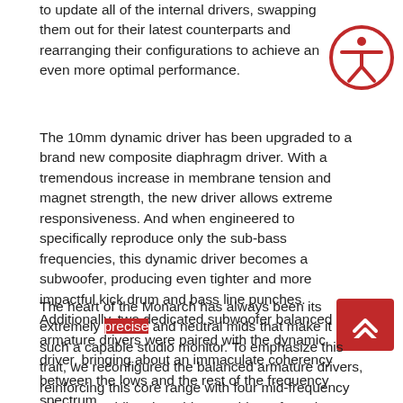to update all of the internal drivers, swapping them out for their latest counterparts and rearranging their configurations to achieve an even more optimal performance.
[Figure (illustration): Accessibility icon: red circle with white human figure (stick person with arms outstretched), representing accessibility features.]
The 10mm dynamic driver has been upgraded to a brand new composite diaphragm driver. With a tremendous increase in membrane tension and magnet strength, the new driver allows extreme responsiveness. And when engineered to specifically reproduce only the sub-bass frequencies, this dynamic driver becomes a subwoofer, producing even tighter and more impactful kick drum and bass line punches. Additionally, two dedicated subwoofer balanced armature drivers were paired with the dynamic driver, bringing about an immaculate coherency between the lows and the rest of the frequency spectrum.
[Figure (illustration): Red scroll-to-top button with double up-chevron arrows in white.]
The heart of the Monarch has always been its extremely precise and neutral mids that make it such a capable studio monitor. To emphasize this trait, we reconfigured the balanced armature drivers, reinforcing this core range with four mid-frequency drivers. Doubling the midrange drivers from the original Monarch presented incredible advances in technical performance. Distortion was reduced, while the resolution, clarity, and